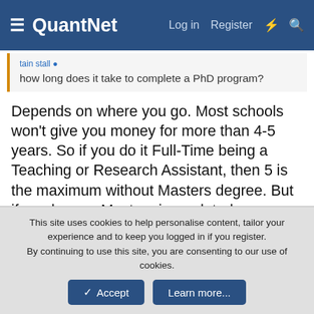QuantNet | Log in | Register
how long does it take to complete a PhD program?
Depends on where you go. Most schools won't give you money for more than 4-5 years. So if you do it Full-Time being a Teaching or Research Assistant, then 5 is the maximum without Masters degree. But if you have a Masters in a related area, subtract 2 years. Also, as someone told me and I will probably see that for myself, at some schools, all you need is to complete a certain number of "in class credits" and pass qualifying exams and then you can do your thesis while working Full-Time anywhere in the world. So, if you already have relevant Masters, and they let you do your thesis Part-Time, then you go to school for a year or a little more and pass qualifying exams and after
This site uses cookies to help personalise content, tailor your experience and to keep you logged in if you register.
By continuing to use this site, you are consenting to our use of cookies.